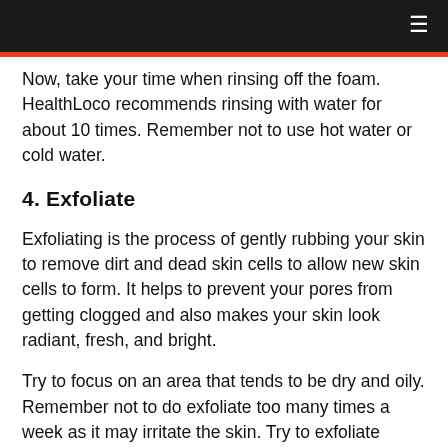≡
Now, take your time when rinsing off the foam. HealthLoco recommends rinsing with water for about 10 times. Remember not to use hot water or cold water.
4. Exfoliate
Exfoliating is the process of gently rubbing your skin to remove dirt and dead skin cells to allow new skin cells to form. It helps to prevent your pores from getting clogged and also makes your skin look radiant, fresh, and bright.
Try to focus on an area that tends to be dry and oily. Remember not to do exfoliate too many times a week as it may irritate the skin. Try to exfoliate about 2 to 3 times a week for best results.
5. Rinse again